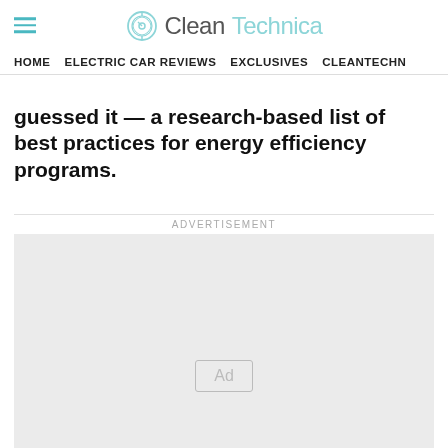CleanTechnica
HOME   ELECTRIC CAR REVIEWS   EXCLUSIVES   CLEANTECHN
guessed it — a research-based list of best practices for energy efficiency programs.
[Figure (other): Advertisement placeholder box with 'Ad' badge label centered, gray background, labeled ADVERTISEMENT above]